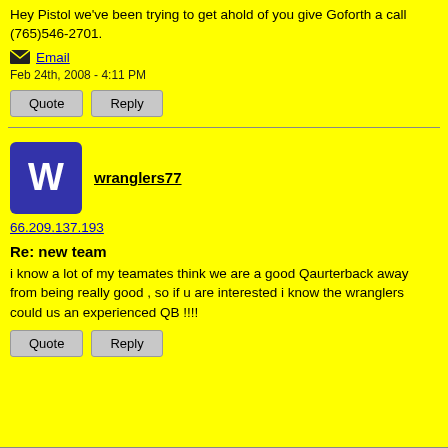Hey Pistol we've been trying to get ahold of you give Goforth a call (765)546-2701.
Email
Feb 24th, 2008 - 4:11 PM
Quote
Reply
wranglers77
66.209.137.193
Re: new team
i know a lot of my teamates think we are a good Qaurterback away from being really good , so if u are interested i know the wranglers could us an experienced QB !!!!
Quote
Reply